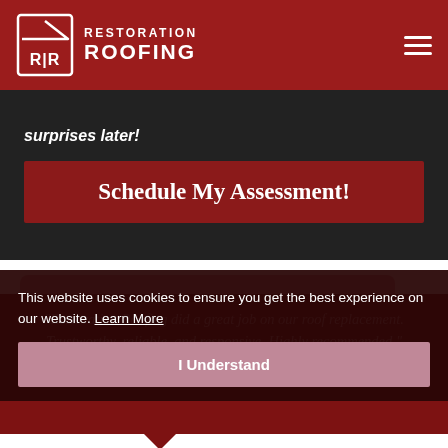[Figure (logo): Restoration Roofing logo with house/R|R icon and text on dark red navigation bar]
surprises later!
Schedule My Assessment!
"Restoration Roofing did a great job on our roof replacement. Trustworthy, reliable, and responsive. Highly recommended."
This website uses cookies to ensure you get the best experience on our website. Learn More
I Understand